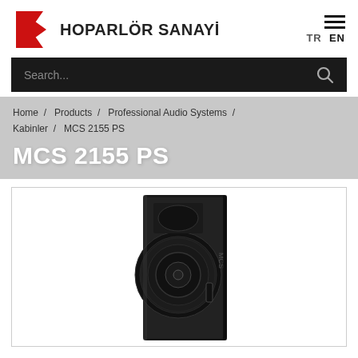[Figure (logo): IK Hoparlör Sanayi logo with red arrow/speaker icon and bold text]
TR EN
Search...
Home / Products / Professional Audio Systems / Kabinler / MCS 2155 PS
MCS 2155 PS
[Figure (photo): Black professional audio speaker cabinet (MCS 2155 PS) with large woofer and horn tweeter, shown in slight angle view]